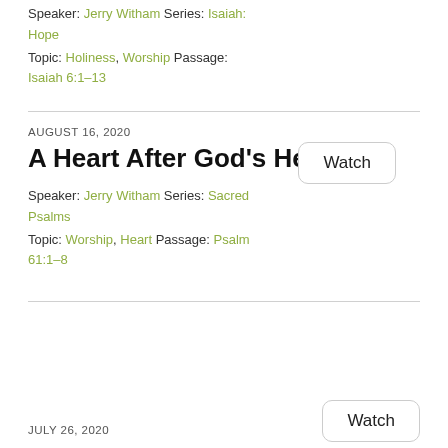Speaker: Jerry Witham Series: Isaiah: Hope
Topic: Holiness, Worship Passage: Isaiah 6:1–13
AUGUST 16, 2020
A Heart After God's Heart
Speaker: Jerry Witham Series: Sacred Psalms
Topic: Worship, Heart Passage: Psalm 61:1–8
JULY 26, 2020
Watch